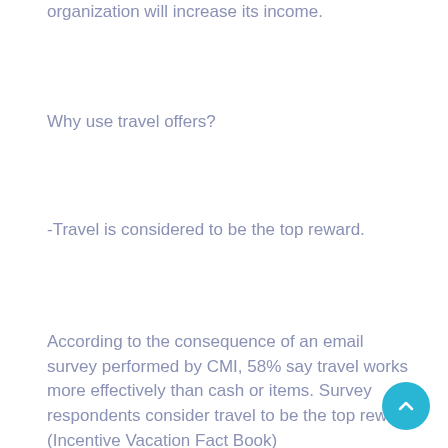organization will increase its income.
Why use travel offers?
-Travel is considered to be the top reward.
According to the consequence of an email survey performed by CMI, 58% say travel works more effectively than cash or items. Survey respondents consider travel to be the top reward. (Incentive Vacation Fact Book)
“Cash bonuses are necessary but travel is an increased perceived reward, ” claims Verizon’s Porterfield.
Additionally, in the recent survey of U . s .